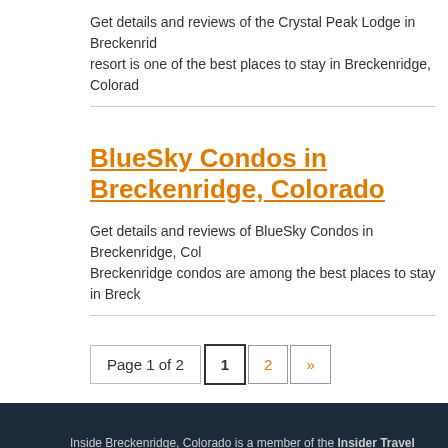Get details and reviews of the Crystal Peak Lodge in Breckenridge resort is one of the best places to stay in Breckenridge, Colorado
BlueSky Condos in Breckenridge, Colorado
Get details and reviews of BlueSky Condos in Breckenridge, Col Breckenridge condos are among the best places to stay in Breck
Page 1 of 2  1  2  »
Inside Breckenridge, Colorado is a member of the Insider Travel Group and brings you the discounts and coupons on cabin rentals, condos, skiing, restaurants, and attractions to g Inside Breckenridge, CO | Sitemap | Privacy Policy Copyright © 2022